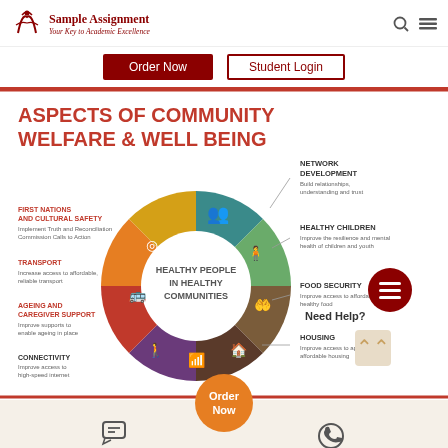Sample Assignment — Your Key to Academic Excellence
Order Now | Student Login
[Figure (infographic): Circular infographic titled 'Aspects of Community Welfare & Well Being' showing a wheel with sections: First Nations and Cultural Safety, Transport, Ageing and Caregiver Support, Connectivity, Housing, Food Security, Healthy Children, Network Development — centered on 'Healthy People in Healthy Communities']
Order Now